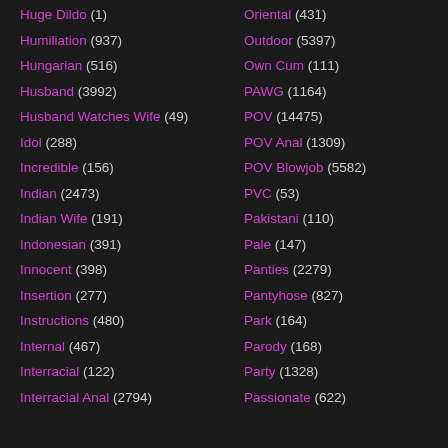Huge Dildo (1)
Humiliation (937)
Hungarian (516)
Husband (3992)
Husband Watches Wife (49)
Idol (288)
Incredible (156)
Indian (2473)
Indian Wife (191)
Indonesian (391)
Innocent (398)
Insertion (277)
Instructions (480)
Internal (467)
Interracial (122)
Interracial Anal (2794)
Oriental (431)
Outdoor (5397)
Own Cum (111)
PAWG (1164)
POV (14475)
POV Anal (1309)
POV Blowjob (5582)
PVC (53)
Pakistani (110)
Pale (147)
Panties (2279)
Pantyhose (827)
Park (164)
Parody (168)
Party (1328)
Passionate (622)